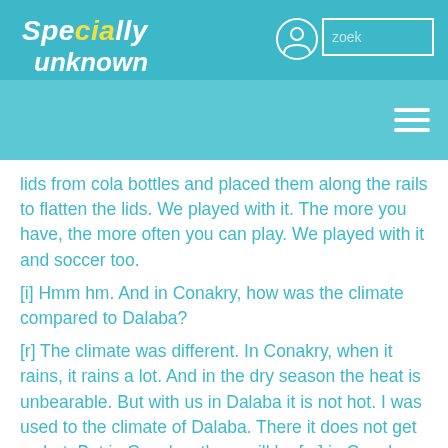Specially unknown
lids from cola bottles and placed them along the rails to flatten the lids. We played with it. The more you have, the more often you can play. We played with it and soccer too.
[i] Hmm hm. And in Conakry, how was the climate compared to Dalaba?
[r] The climate was different. In Conakry, when it rains, it rains a lot. And in the dry season the heat is unbearable. But with us in Dalaba it is not hot. I was used to the climate of Dalaba. There it does not get so hot. But in Conakry, there will be [...] in Conakry there are many mosquitoes. With us in Dalaba, there are no mosquitoes and you can even sleep outside. In Conakry all entrances and exits must be locked. In Dalaba, where I lived, you can sleep outside on the mat without any problems. From outside you can see the